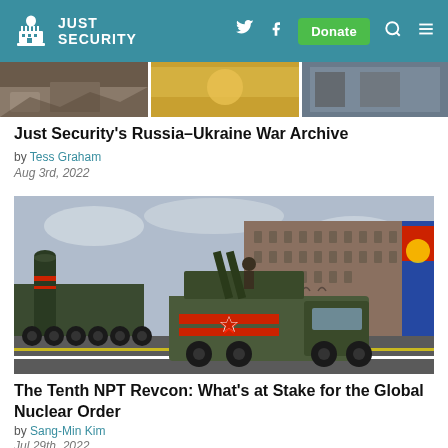JUST SECURITY
[Figure (photo): Three strip photos at top of content area showing war-related imagery]
Just Security's Russia–Ukraine War Archive
by Tess Graham
Aug 3rd, 2022
[Figure (photo): Military vehicles including a ballistic missile launcher and army truck with red star insignia parading through Red Square in Moscow]
The Tenth NPT Revcon: What's at Stake for the Global Nuclear Order
by Sang-Min Kim
Jul 29th, 2022